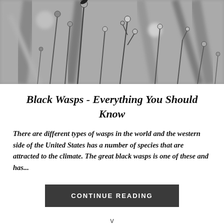[Figure (photo): Black and white photograph of wild grass stems with small round buds/seed heads, with an insect visible at the top. Blurred natural background.]
Black Wasps - Everything You Should Know
There are different types of wasps in the world and the western side of the United States has a number of species that are attracted to the climate. The great black wasps is one of these and has...
CONTINUE READING
v